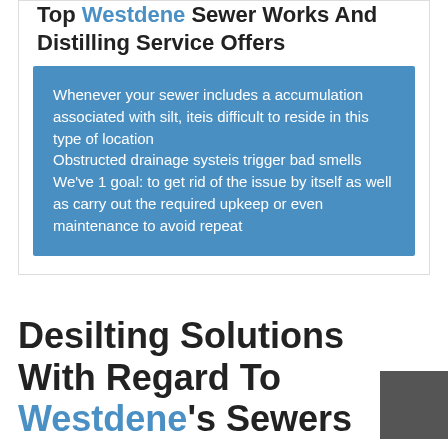Top Westdene Sewer Works And Distilling Service Offers
Whenever your sewer includes a accumulation associated with silt, iteis difficult to reside in this type of location
Obstructed drainage systeis trigger bad smells
We've 1 goal: to get rid of the issue by itself as well as carry out the required upkeep or even maintenance to avoid repeat
Desilting Solutions With Regard To Westdene's Sewers